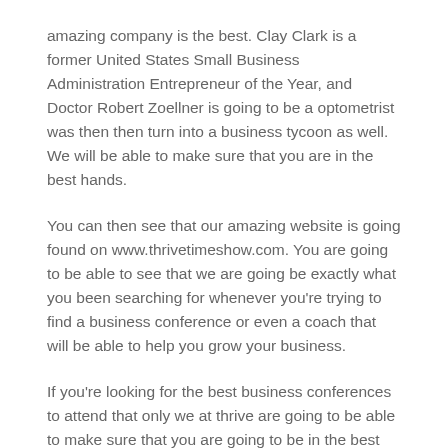amazing company is the best. Clay Clark is a former United States Small Business Administration Entrepreneur of the Year, and Doctor Robert Zoellner is going to be a optometrist was then then turn into a business tycoon as well. We will be able to make sure that you are in the best hands.
You can then see that our amazing website is going found on www.thrivetimeshow.com. You are going to be able to see that we are going be exactly what you been searching for whenever you're trying to find a business conference or even a coach that will be able to help you grow your business.
If you're looking for the best business conferences to attend that only we at thrive are going to be able to make sure that you are going to be in the best possible hands as well. We can then show you that Clay Clark and Doctor Robert Zoellner, two entrepreneurs that have been able to grow 13 multimillion dollar businesses, will be able